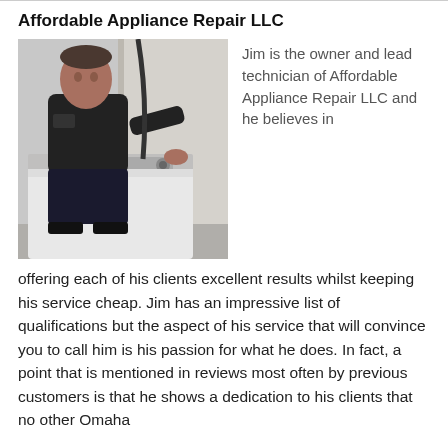Affordable Appliance Repair LLC
[Figure (photo): A man in a dark work shirt standing next to a washing machine, posing with his hand on the machine's control panel.]
Jim is the owner and lead technician of Affordable Appliance Repair LLC and he believes in offering each of his clients excellent results whilst keeping his service cheap. Jim has an impressive list of qualifications but the aspect of his service that will convince you to call him is his passion for what he does. In fact, a point that is mentioned in reviews most often by previous customers is that he shows a dedication to his clients that no other Omaha